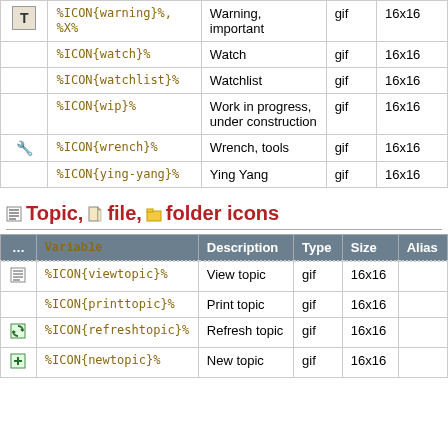|  | Variable | Description | Type | Size |
| --- | --- | --- | --- | --- |
| [T] | %ICON{warning}%, %X% | Warning, important | gif | 16x16 |
|  | %ICON{watch}% | Watch | gif | 16x16 |
|  | %ICON{watchlist}% | Watchlist | gif | 16x16 |
|  | %ICON{wip}% | Work in progress, under construction | gif | 16x16 |
| [wrench] | %ICON{wrench}% | Wrench, tools | gif | 16x16 |
|  | %ICON{ying-yang}% | Ying Yang | gif | 16x16 |
Topic, file, folder icons
|  | Variable | Description | Type | Size | Alias |
| --- | --- | --- | --- | --- | --- |
| [topic] | %ICON{viewtopic}% | View topic | gif | 16x16 |  |
|  | %ICON{printtopic}% | Print topic | gif | 16x16 |  |
| [refresh] | %ICON{refreshtopic}% | Refresh topic | gif | 16x16 |  |
| [newtopic] | %ICON{newtopic}% | New topic | gif | 16x16 |  |